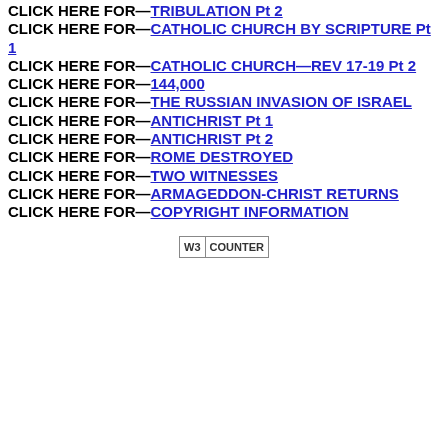CLICK HERE FOR—TRIBULATION Pt 2
CLICK HERE FOR—CATHOLIC CHURCH BY SCRIPTURE Pt 1
CLICK HERE FOR—CATHOLIC CHURCH—REV 17-19 Pt 2
CLICK HERE FOR—144,000
CLICK HERE FOR—THE RUSSIAN INVASION OF ISRAEL
CLICK HERE FOR—ANTICHRIST Pt 1
CLICK HERE FOR—ANTICHRIST Pt 2
CLICK HERE FOR—ROME DESTROYED
CLICK HERE FOR—TWO WITNESSES
CLICK HERE FOR—ARMAGEDDON-CHRIST RETURNS
CLICK HERE FOR—COPYRIGHT INFORMATION
[Figure (other): W3Counter web counter badge]